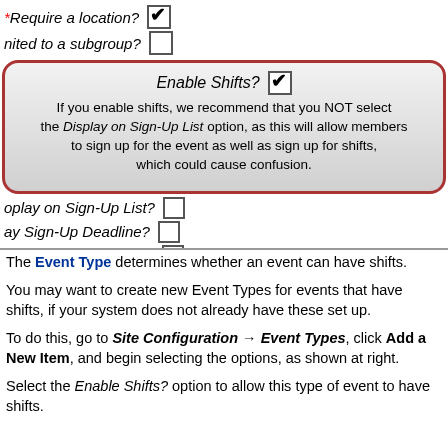[Figure (screenshot): A form interface showing checkboxes for: '* Require a location?' (checked), 'nited to a subgroup?' (unchecked), then a rounded highlighted box containing 'Enable Shifts?' (checked) with advisory note text, then 'oplay on Sign-Up List?' (unchecked), 'ay Sign-Up Deadline?' (unchecked), 'oplay Estimated Cost?' (unchecked)]
The Event Type determines whether an event can have shifts.
You may want to create new Event Types for events that have shifts, if your system does not already have these set up.
To do this, go to Site Configuration → Event Types, click Add a New Item, and begin selecting the options, as shown at right.
Select the Enable Shifts? option to allow this type of event to have shifts.